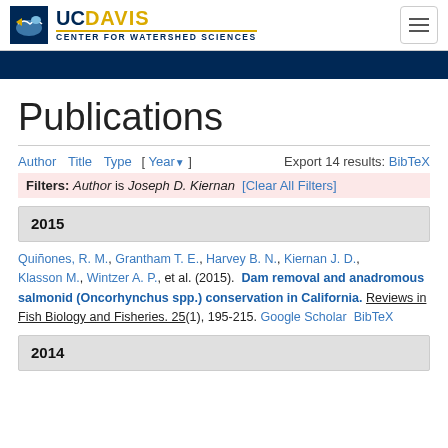UC Davis Center for Watershed Sciences
Publications
Author Title Type [ Year▼ ]   Export 14 results: BibTeX
Filters: Author is Joseph D. Kiernan [Clear All Filters]
2015
Quiñones, R. M., Grantham T. E., Harvey B. N., Kiernan J. D., Klasson M., Wintzer A. P., et al. (2015). Dam removal and anadromous salmonid (Oncorhynchus spp.) conservation in California. Reviews in Fish Biology and Fisheries. 25(1), 195-215. Google Scholar BibTeX
2014